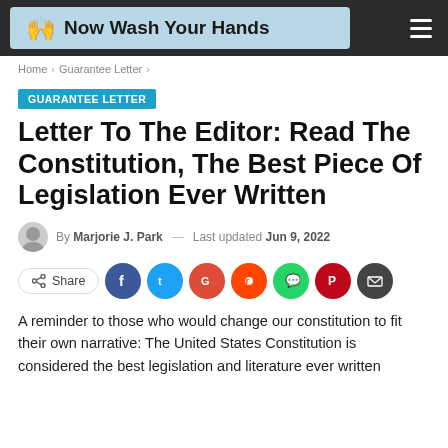Now Wash Your Hands
Home › Guarantee Letter ›
GUARANTEE LETTER
Letter To The Editor: Read The Constitution, The Best Piece Of Legislation Ever Written
By Marjorie J. Park — Last updated Jun 9, 2022
Share
A reminder to those who would change our constitution to fit their own narrative: The United States Constitution is considered the best legislation and literature ever written